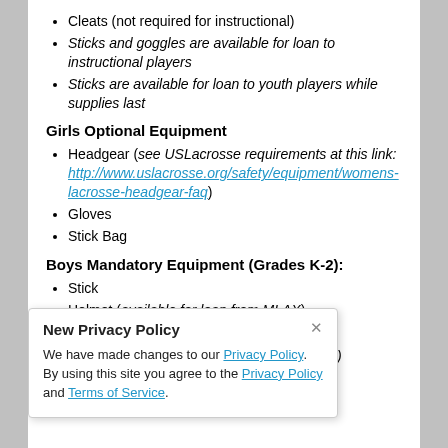Cleats (not required for instructional)
Sticks and goggles are available for loan to instructional players
Sticks are available for loan to youth players while supplies last
Girls Optional Equipment
Headgear (see USLacrosse requirements at this link: http://www.uslacrosse.org/safety/equipment/womens-lacrosse-headgear-faq)
Gloves
Stick Bag
Boys Mandatory Equipment (Grades K-2):
Stick
Helmet (available for loan from MLAX)
Gloves
r 10U and 12U)
New Privacy Policy
We have made changes to our Privacy Policy. By using this site you agree to the Privacy Policy and Terms of Service.